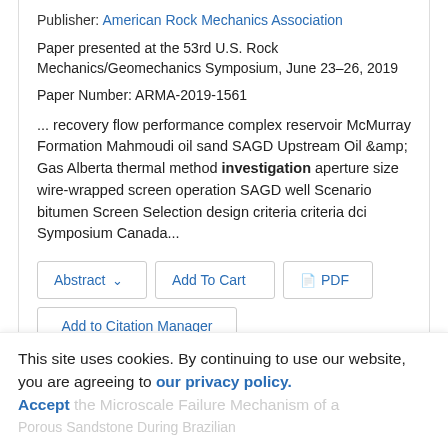Publisher: American Rock Mechanics Association
Paper presented at the 53rd U.S. Rock Mechanics/Geomechanics Symposium, June 23–26, 2019
Paper Number: ARMA-2019-1561
... recovery flow performance complex reservoir McMurray Formation Mahmoudi oil sand SAGD Upstream Oil &amp; Gas Alberta thermal method investigation aperture size wire-wrapped screen operation SAGD well Scenario bitumen Screen Selection design criteria criteria dci Symposium Canada...
Abstract ∨ | Add To Cart | PDF | Add to Citation Manager
This site uses cookies. By continuing to use our website, you are agreeing to our privacy policy. Accept
the Microscale Failure Mechanism of a Porous Sandstone During Brazilian